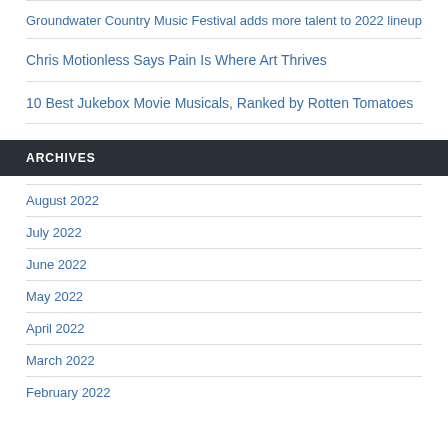Groundwater Country Music Festival adds more talent to 2022 lineup
Chris Motionless Says Pain Is Where Art Thrives
10 Best Jukebox Movie Musicals, Ranked by Rotten Tomatoes
ARCHIVES
August 2022
July 2022
June 2022
May 2022
April 2022
March 2022
February 2022